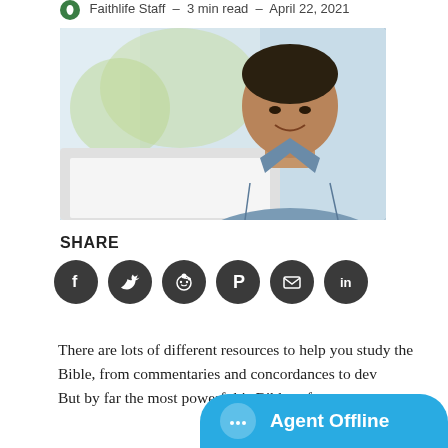Faithlife Staff – 3 min read – April 22, 2021
[Figure (photo): Man in denim shirt looking down at a laptop, sitting near a bright window with blurred outdoor background]
SHARE
[Figure (infographic): Six dark circular social share buttons: Facebook, Twitter, Reddit, Pinterest, Email, LinkedIn]
There are lots of different resources to help you study the Bible, from commentaries and concordances to dev... But by far the most powerful is Bible software.